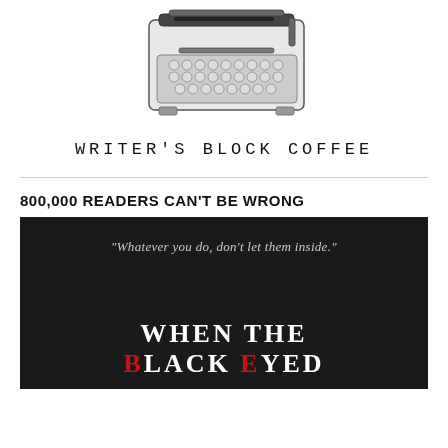[Figure (logo): Vintage typewriter illustration used as logo for Writer's Block Coffee]
WRITER'S BLOCK COFFEE
800,000 READERS CAN'T BE WRONG
[Figure (photo): Book cover with dark background showing quote 'Whatever you do, don't let them inside.' and title 'When the Black Eyed...' with red and white lettering]